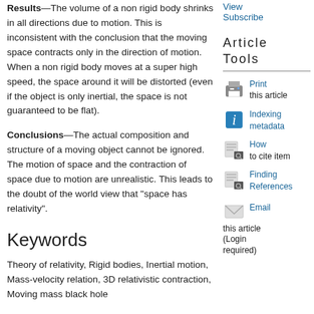Results: The volume of a non rigid body shrinks in all directions due to motion. This is inconsistent with the conclusion that the moving space contracts only in the direction of motion. When a non rigid body moves at a super high speed, the space around it will be distorted (even if the object is only inertial, the space is not guaranteed to be flat).
Conclusions: The actual composition and structure of a moving object cannot be ignored. The motion of space and the contraction of space due to motion are unrealistic. This leads to the doubt of the world view that "space has relativity".
Keywords
Theory of relativity, Rigid bodies, Inertial motion, Mass-velocity relation, 3D relativistic contraction, Moving mass black hole
View
Subscribe
Article Tools
Print this article
Indexing metadata
How to cite item
Finding References
Email this article (Login required)